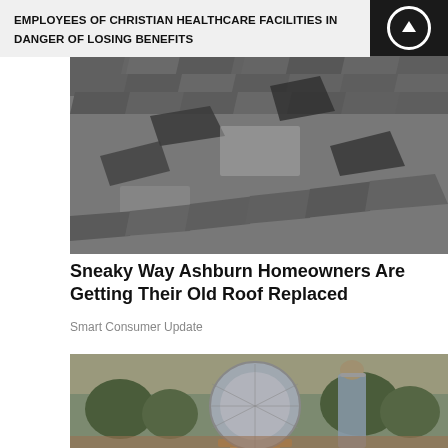EMPLOYEES OF CHRISTIAN HEALTHCARE FACILITIES IN DANGER OF LOSING BENEFITS
[Figure (photo): Damaged roof shingles, curled and broken, viewed from above]
Sneaky Way Ashburn Homeowners Are Getting Their Old Roof Replaced
Smart Consumer Update
[Figure (photo): Man standing outdoors next to a large circular metal solar device mounted on a wooden frame, with scrubby trees in the background]